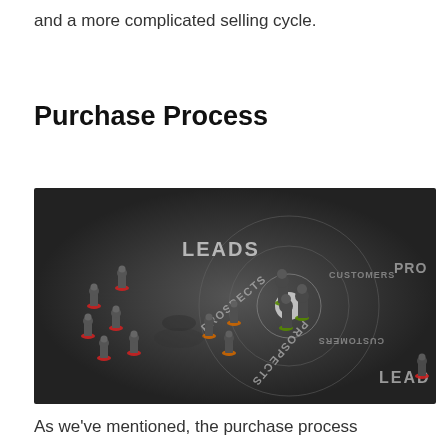and a more complicated selling cycle.
Purchase Process
[Figure (photo): Black and white photograph of chess pawns arranged on a dark surface with concentric text rings reading LEADS, PROSPECTS, CUSTOMERS in a target/funnel pattern. Pawns have colored rings (red, orange, green) at their bases indicating progression stages.]
As we've mentioned, the purchase process